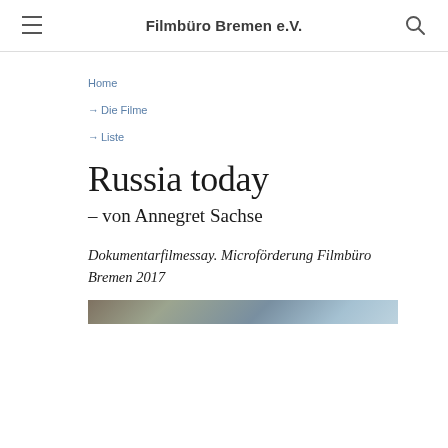Filmbüro Bremen e.V.
Home
→ Die Filme
→ Liste
Russia today
– von Annegret Sachse
Dokumentarfilmessay. Microförderung Filmbüro Bremen 2017
[Figure (photo): Partial image strip showing a landscape scene with trees and sky]